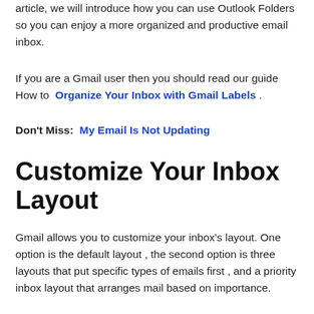article, we will introduce how you can use Outlook Folders so you can enjoy a more organized and productive email inbox.
If you are a Gmail user then you should read our guide How to Organize Your Inbox with Gmail Labels .
Don't Miss:  My Email Is Not Updating
Customize Your Inbox Layout
Gmail allows you to customize your inbox’s layout. One option is the default layout , the second option is three layouts that put specific types of emails first , and a priority inbox layout that arranges mail based on importance.
We recommend choosing either the default or priority